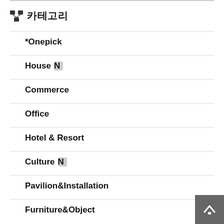카테고리
*Onepick
House N
Commerce
Office
Hotel & Resort
Culture N
Pavilion&Installation
Furniture&Object